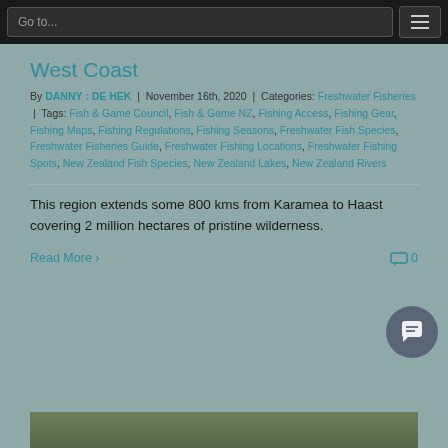Go to...
West Coast
By DANNY : DE HEK | November 16th, 2020 | Categories: Freshwater Fisheries | Tags: Fish & Game Council, Fish & Game NZ, Fishing Access, Fishing Gear, Fishing Maps, Fishing Regulations, Fishing Seasons, Freshwater Fish Species, Freshwater Fisheries Guide, Freshwater Fishing Locations, Freshwater Fishing Spots, New Zealand Fish Species, New Zealand Lakes, New Zealand Rivers
This region extends some 800 kms from Karamea to Haast covering 2 million hectares of pristine wilderness.
Read More › | 0 comments